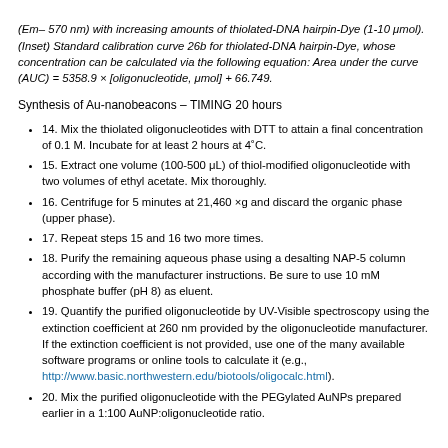(Em– 570 nm) with increasing amounts of thiolated-DNA hairpin-Dye (1-10 μmol). (Inset) Standard calibration curve 26b for thiolated-DNA hairpin-Dye, whose concentration can be calculated via the following equation: Area under the curve (AUC) = 5358.9 × [oligonucleotide, μmol] + 66.749.
Synthesis of Au-nanobeacons – TIMING 20 hours
14. Mix the thiolated oligonucleotides with DTT to attain a final concentration of 0.1 M. Incubate for at least 2 hours at 4˚C.
15. Extract one volume (100-500 μL) of thiol-modified oligonucleotide with two volumes of ethyl acetate. Mix thoroughly.
16. Centrifuge for 5 minutes at 21,460 ×g and discard the organic phase (upper phase).
17. Repeat steps 15 and 16 two more times.
18. Purify the remaining aqueous phase using a desalting NAP-5 column according with the manufacturer instructions. Be sure to use 10 mM phosphate buffer (pH 8) as eluent.
19. Quantify the purified oligonucleotide by UV-Visible spectroscopy using the extinction coefficient at 260 nm provided by the oligonucleotide manufacturer. If the extinction coefficient is not provided, use one of the many available software programs or online tools to calculate it (e.g., http://www.basic.northwestern.edu/biotools/oligocalc.html).
20. Mix the purified oligonucleotide with the PEGylated AuNPs prepared earlier in a 1:100 AuNP:oligonucleotide ratio.